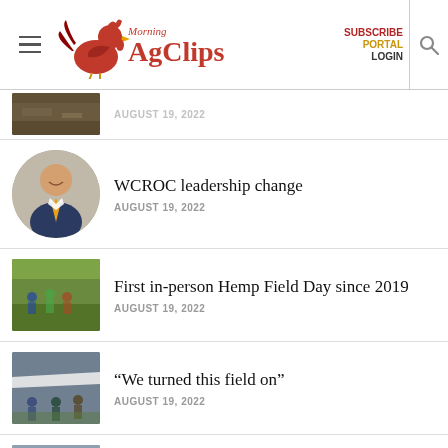Morning AgClips — SUBSCRIBE PORTAL LOGIN
[Figure (photo): Thumbnail of soil/ground article, date partially visible: August 19, 2022]
[Figure (photo): Circular portrait photo of a smiling man in suit]
WCROC leadership change
AUGUST 19, 2022
[Figure (photo): Photo of people in a hemp field]
First in-person Hemp Field Day since 2019
AUGUST 19, 2022
[Figure (photo): Photo of people under a tent in a field]
“We turned this field on”
AUGUST 19, 2022
[Figure (photo): Photo of a drone flying over a field]
AgriGold drone trials vet fungicides
AUGUST 19, 2022